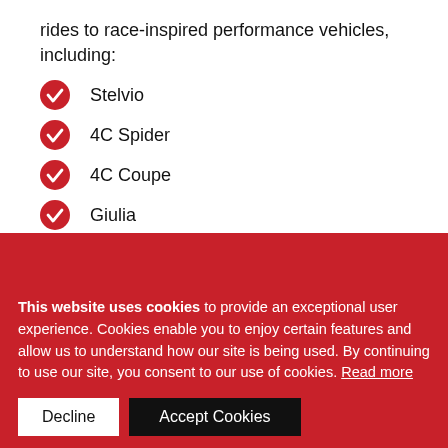rides to race-inspired performance vehicles, including:
Stelvio
4C Spider
4C Coupe
Giulia
Stelvio Quadrifoglio
Giulia Quadrifoglio
No matter what you have in mind, the choices we give you are...
...Alfa Romeo repair set from certified technicians knowledge in FAC parts, Alfa Romeo Scheduled
This website uses cookies to provide an exceptional user experience. Cookies enable you to enjoy certain features and allow us to understand how our site is being used. By continuing to use our site, you consent to our use of cookies. Read more